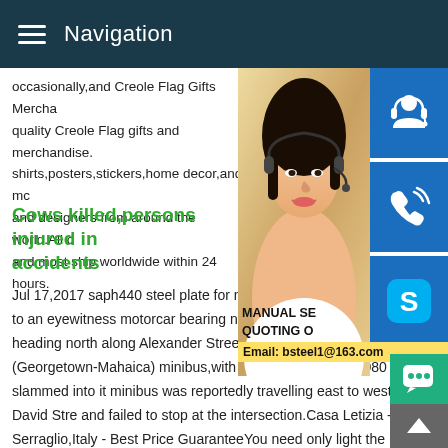Navigation
occasionally,and Creole Flag Gifts Mercha quality Creole Flag gifts and merchandise. shirts,posters,stickers,home decor,and mc and designers from around the world.All o and most ship worldwide within 24 hours.
[Figure (photo): Customer service representative woman wearing headset with blue sidebar icons for support, phone, and Skype]
Cows killed,persons injured in accidents
Jul 17,2017 saph440 steel plate for mahaica berbice#0183;According to an eyewitness motorcar bearing number plate PSS 5332 was heading north along Alexander Street when a dark green route 44 (Georgetown-Mahaica) minibus,with number plate BTT 6080 slammed into it minibus was reportedly travelling east to west along David Street and failed to stop at the intersection.Casa Letizia - Ponte Serraglio,Italy - Best Price GuaranteeYou need only light the